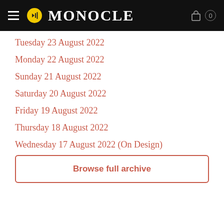MONOCLE
Tuesday 23 August 2022
Monday 22 August 2022
Sunday 21 August 2022
Saturday 20 August 2022
Friday 19 August 2022
Thursday 18 August 2022
Wednesday 17 August 2022 (On Design)
Browse full archive